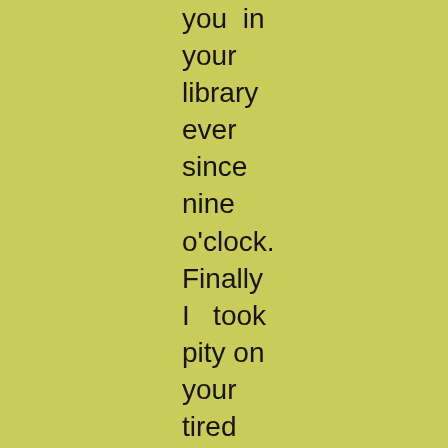you in your library ever since nine o'clock. Finally I took pity on your tired servant and told him to go to bed, as he